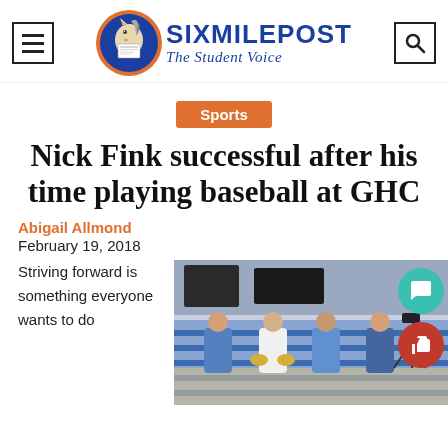[Figure (logo): Six Mile Post newspaper logo with horse mascot in blue/orange circle, text 'SixMilePost The Student Voice']
Sports
Nick Fink successful after his time playing baseball at GHC
Abigail Allmond
February 19, 2018
Striving forward is something everyone wants to do
[Figure (photo): Four people posing indoors in a gymnasium/school setting; one person wearing a baseball uniform holding golden gloves]